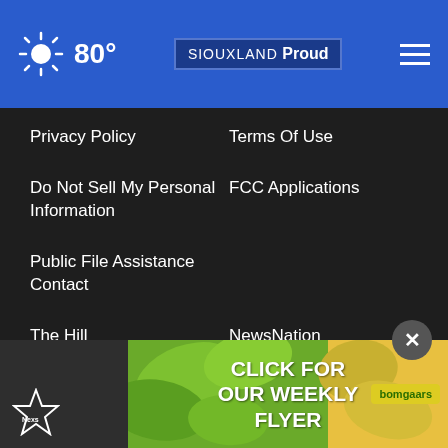80° | SIOUXLAND Proud
Privacy Policy
Terms Of Use
Do Not Sell My Personal Information
FCC Applications
Public File Assistance Contact
The Hill
NewsNation
BestReviews
Content Licensing
Nexstar Digital
[Figure (screenshot): Bomgaars advertisement banner: 'CLICK FOR OUR WEEKLY FLYER' with green leaves background and Bomgaars logo]